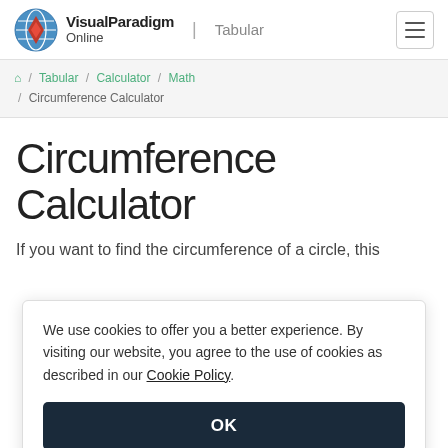Visual Paradigm Online | Tabular
/ Tabular / Calculator / Math / Circumference Calculator
Circumference Calculator
If you want to find the circumference of a circle, this
We use cookies to offer you a better experience. By visiting our website, you agree to the use of cookies as described in our Cookie Policy.
OK